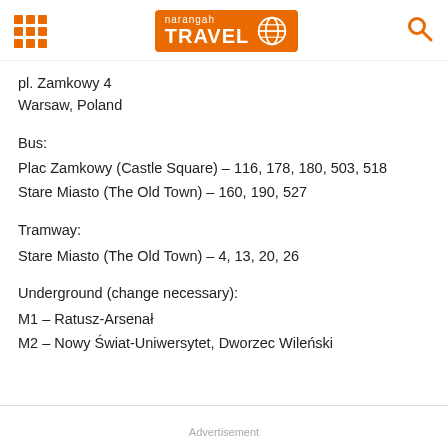narangah TRAVEL
pl. Zamkowy 4
Warsaw, Poland
Bus:
Plac Zamkowy (Castle Square) – 116, 178, 180, 503, 518
Stare Miasto (The Old Town) – 160, 190, 527
Tramway:
Stare Miasto (The Old Town) – 4, 13, 20, 26
Underground (change necessary):
M1 – Ratusz-Arsenał
M2 – Nowy Świat-Uniwersytet, Dworzec Wileński
Advertisement